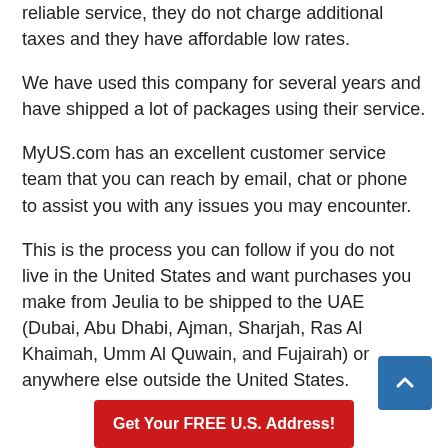reliable service, they do not charge additional taxes and they have affordable low rates.
We have used this company for several years and have shipped a lot of packages using their service.
MyUS.com has an excellent customer service team that you can reach by email, chat or phone to assist you with any issues you may encounter.
This is the process you can follow if you do not live in the United States and want purchases you make from Jeulia to be shipped to the UAE (Dubai, Abu Dhabi, Ajman, Sharjah, Ras Al Khaimah, Umm Al Quwain, and Fujairah) or anywhere else outside the United States.